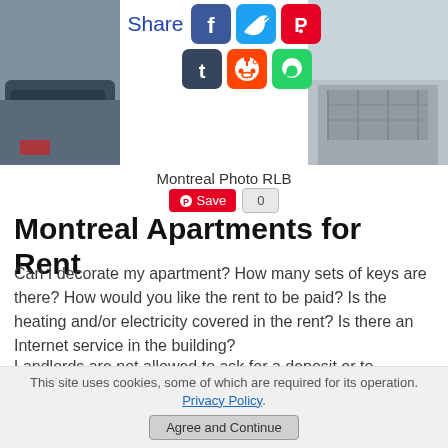[Figure (photo): Photo of a dark car on the left side]
[Figure (infographic): Social share buttons: Share label, Facebook, Twitter, Pinterest, Tumblr, Reddit, WhatsApp icons]
[Figure (photo): Photo of a building/fence on the right side]
Montreal Photo RLB
[Figure (other): Pinterest Save button with count 0]
Montreal Apartments for Rent
Can I decorate my apartment? How many sets of keys are there? How would you like the rent to be paid? Is the heating and/or electricity covered in the rent? Is there an Internet service in the building?
Landlords are not allowed to ask for a deposit or to increase the rent during the lease. However, after the lease has been signed, they are allowed to ask for the first monthly payment.
This site uses cookies, some of which are required for its operation. Privacy Policy. Agree and Continue